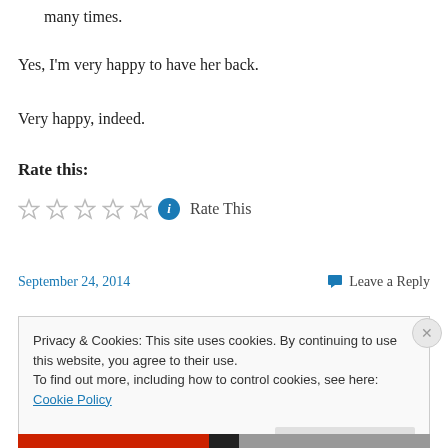many times.
Yes, I'm very happy to have her back.
Very happy, indeed.
Rate this:
★★★★★ ⓘ Rate This
September 24, 2014
Leave a Reply
Privacy & Cookies: This site uses cookies. By continuing to use this website, you agree to their use. To find out more, including how to control cookies, see here: Cookie Policy
Close and accept